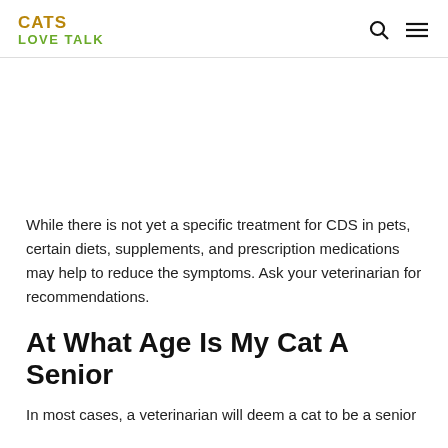CATS LOVE TALK
[Figure (photo): Blank/white image placeholder area]
While there is not yet a specific treatment for CDS in pets, certain diets, supplements, and prescription medications may help to reduce the symptoms. Ask your veterinarian for recommendations.
At What Age Is My Cat A Senior
In most cases, a veterinarian will deem a cat to be a senior